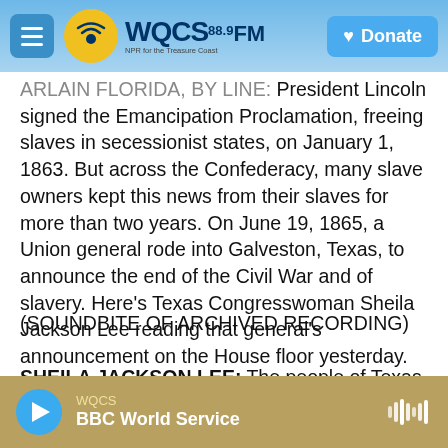WQCS 88.9 FM — NPR for the Treasure Coast | Donate
ARLAIN FLORIDA, BY LINE: President Lincoln signed the Emancipation Proclamation, freeing slaves in secessionist states, on January 1, 1863. But across the Confederacy, many slave owners kept this news from their slaves for more than two years. On June 19, 1865, a Union general rode into Galveston, Texas, to announce the end of the Civil War and of slavery. Here's Texas Congresswoman Sheila Jackson Lee reading that general's announcement on the House floor yesterday.
(SOUNDBITE OF ARCHIVED RECORDING)
SHEILA JACKSON LEE: The people of Texas are
WQCS — BBC World Service